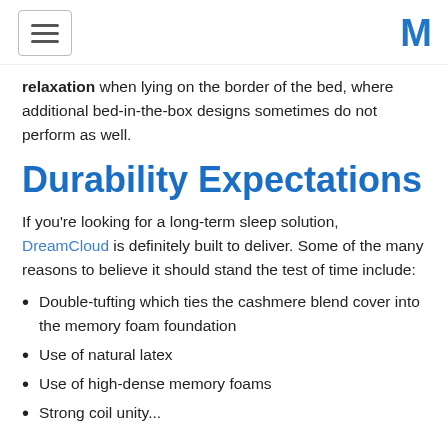[hamburger menu] [M logo]
relaxation when lying on the border of the bed, where additional bed-in-the-box designs sometimes do not perform as well.
Durability Expectations
If you're looking for a long-term sleep solution, DreamCloud is definitely built to deliver. Some of the many reasons to believe it should stand the test of time include:
Double-tufting which ties the cashmere blend cover into the memory foam foundation
Use of natural latex
Use of high-dense memory foams
Strong coil unity...